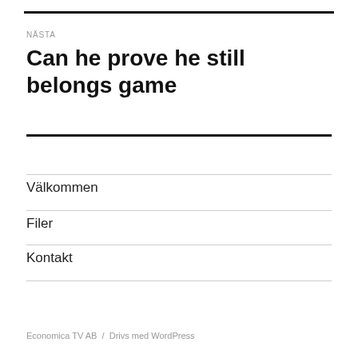NÄSTA
Can he prove he still belongs game
Välkommen
Filer
Kontakt
Economica TV AB  /  Drivs med WordPress